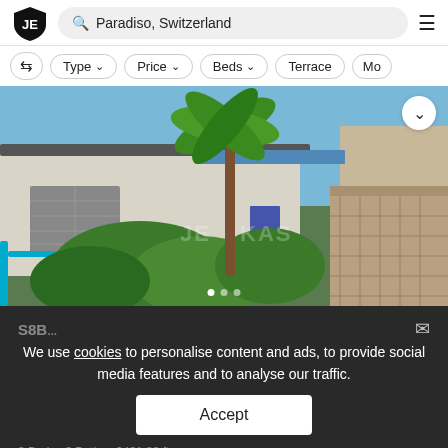JE  Paradiso, Switzerland  ≡
⇄  Type ∨  Price ∨  Beds ∨  Terrace  Mo
[Figure (photo): Exterior courtyard of a residential apartment building in Paradiso, Switzerland, showing lush green plants, palm tree, tiled walkway, blue railings and pergola roof under blue sky. Watermarked image with carousel dots at bottom.]
We use cookies to personalise content and ads, to provide social media features and to analyse our traffic.
Accept
S8B… (price partially visible)
3 Beds · 2 Baths · 2431.88 ft²
Apartment·  🔔  Map